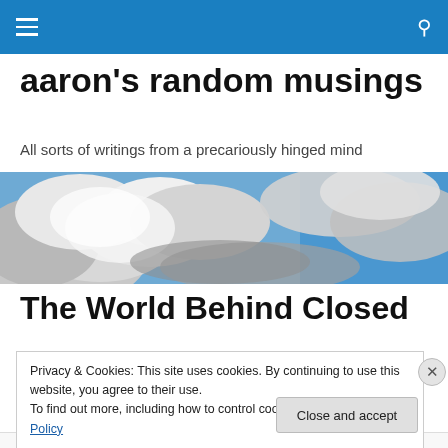aaron's random musings
All sorts of writings from a precariously hinged mind
[Figure (photo): Sky photo showing clouds with blue sky, used as hero/banner image]
The World Behind Closed
Privacy & Cookies: This site uses cookies. By continuing to use this website, you agree to their use. To find out more, including how to control cookies, see here: Cookie Policy
Close and accept